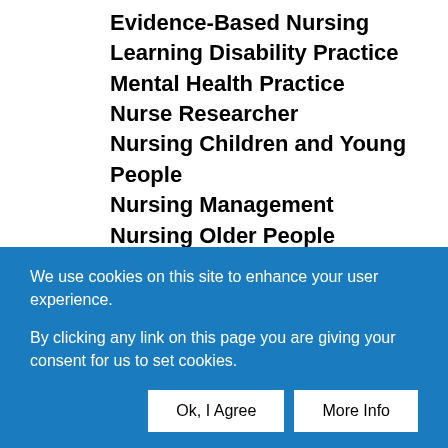Evidence-Based Nursing
Learning Disability Practice
Mental Health Practice
Nurse Researcher
Nursing Children and Young People
Nursing Management
Nursing Older People
Nursing Standard
Primary Health Care
We use cookies on this site to enhance your user experience.
By clicking any link on this page you are giving your consent for us to set cookies.